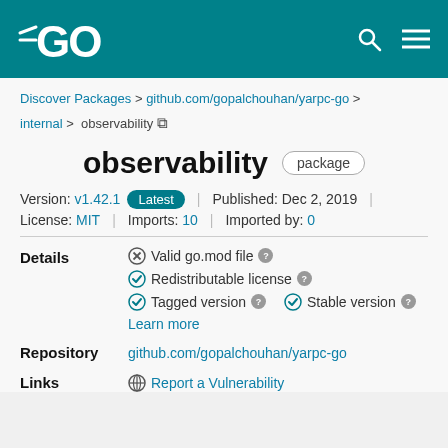Go (golang.org) package page header with logo, search and menu icons
Discover Packages > github.com/gopalchouhan/yarpc-go > internal > observability
observability package
Version: v1.42.1 Latest | Published: Dec 2, 2019 | License: MIT | Imports: 10 | Imported by: 0
Details
⊗ Valid go.mod file ?
✓ Redistributable license ?
✓ Tagged version ? ✓ Stable version ?
Learn more
Repository github.com/gopalchouhan/yarpc-go
Links 🌐 Report a Vulnerability